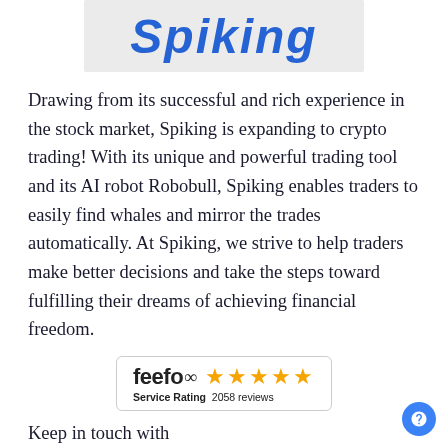[Figure (logo): Spiking logo in cursive blue text on light grey background]
Drawing from its successful and rich experience in the stock market, Spiking is expanding to crypto trading! With its unique and powerful trading tool and its AI robot Robobull, Spiking enables traders to easily find whales and mirror the trades automatically. At Spiking, we strive to help traders make better decisions and take the steps toward fulfilling their dreams of achieving financial freedom.
[Figure (logo): Feefo service rating badge showing 5 stars and 2058 reviews]
Keep in touch with